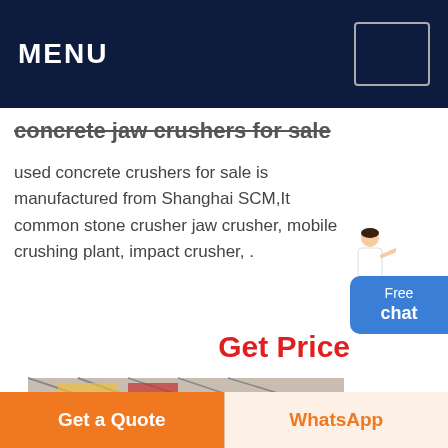MENU
concrete jaw crushers for sale
used concrete crushers for sale is manufactured from Shanghai SCM,It common stone crusher jaw crusher, mobile crushing plant, impact crusher, .
Get Price
[Figure (photo): Industrial factory floor showing large cone crusher machines (grey/black cylindrical equipment on orange frames) inside a warehouse with metal roof structure and natural lighting from windows.]
mobile
Get a Quote
WhatsApp